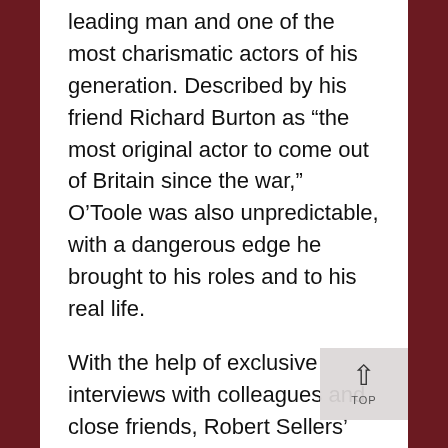leading man and one of the most charismatic actors of his generation. Described by his friend Richard Burton as “the most original actor to come out of Britain since the war,” O’Toole was also unpredictable, with a dangerous edge he brought to his roles and to his real life.
With the help of exclusive interviews with colleagues and close friends, Robert Sellers’ Peter O’Toole: The Definitive Biography paints the first complete picture of this complex and much-loved man. The book reveals what drove him to extremes, why he drank to excess for many years and hated authority, but it also describes a man who was fiercely intelligent, with a great sense of humor and huge energy.